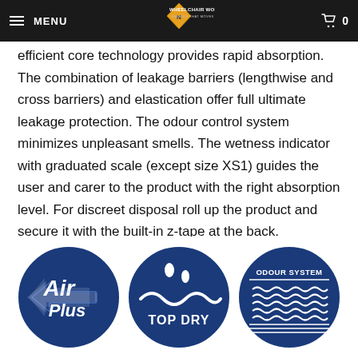MENU | WHEELCHAIR WORKS | 0
efficient core technology provides rapid absorption. The combination of leakage barriers (lengthwise and cross barriers) and elastication offer full ultimate leakage protection. The odour control system minimizes unpleasant smells. The wetness indicator with graduated scale (except size XS1) guides the user and carer to the product with the right absorption level. For discreet disposal roll up the product and secure it with the built-in z-tape at the back.
[Figure (logo): Three circular brand badges: Air Plus (blue circle with italic text and arrow), Top Dry (blue circle with water droplet icons and wave), Odour System (blue circle with wavy lines pattern and 'ODOUR SYSTEM' text)]